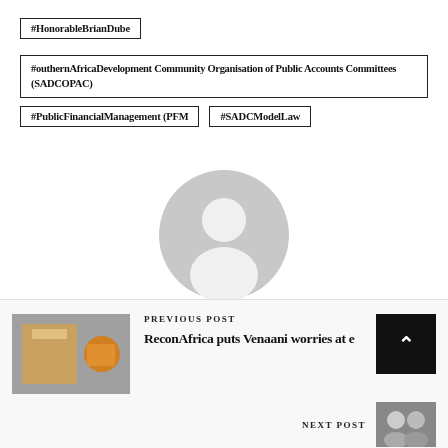#HonorableBrianDube
#outhernAfricaDevelopment Community Organisation of Public Accounts Committees (SADCOPAC)
#PublicFinancialManagement (PFM
#SADCModelLaw
[Figure (illustration): Generic user avatar icon — grey circle with white person silhouette]
By Observer
PREVIOUS POST
ReconAfrica puts Venaani worries at e
NEXT POST